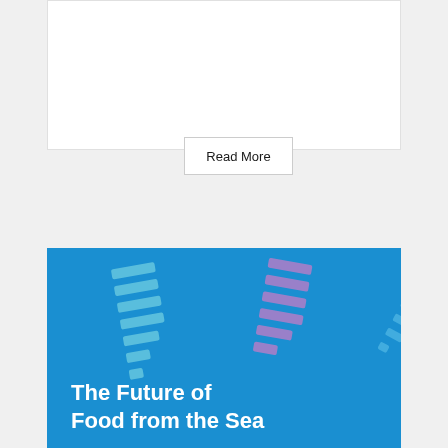Read More
[Figure (illustration): Book cover with blue background featuring decorative arc/fan pattern of dashed lines and rectangles in light blue and purple tones, with bold white title text 'The Future of Food from the Sea']
The Future of Food from the Sea